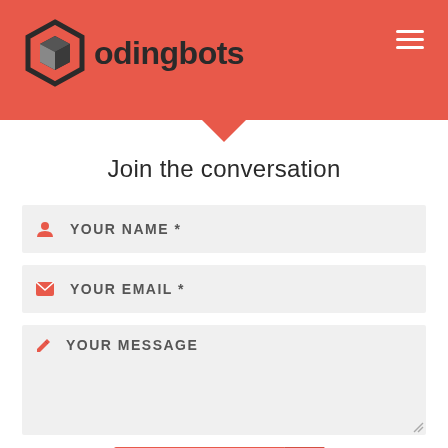[Figure (logo): Codingbots logo with hexagonal icon and text on red header background]
Join the conversation
YOUR NAME *
YOUR EMAIL *
YOUR MESSAGE
Add comment